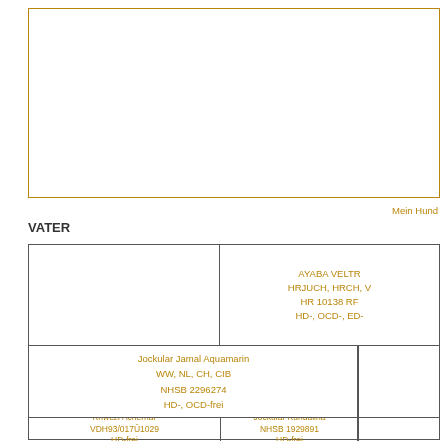Mein Hund
VATER
|  | AYABA VELTR... |
|  | HRJUCH, HRCH, V... / HR 10138 RF... / HD-, OCD-, ED-... |
| Jockular Jamal Aquamarin / WW, NL, CH, CIB / NHSB 2296274 / HD-, OCD-frei |  |
| Khwezi Achernar / VDH93/017Ü1029 / HD-frei | Jockular Kundalina / NHSB 1929891 / HD-frei |